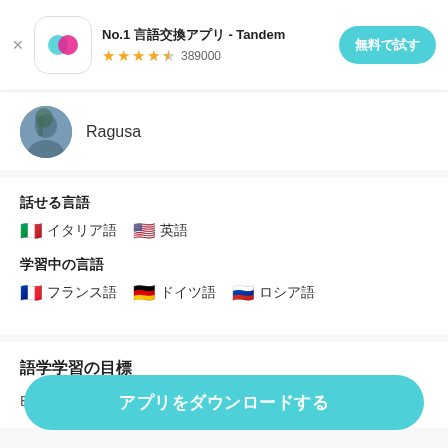No.1 言語交換アプリ - Tandem ★★★★☆ 389000 無料で試す
Ragusa
話せる言語
🇮🇹 イタリア語　🇺🇸 英語
学習中の言語
🇫🇷 フランス語　🇩🇪 ドイツ語　🇷🇺 ロシア語
語学学習の目標
Be able to express myself properl...もっと見る
アプリをダウンロードする